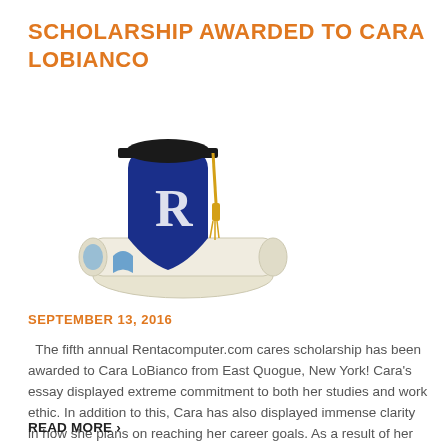SCHOLARSHIP AWARDED TO CARA LOBIANCO
[Figure (illustration): Graduation cap and diploma with blue shield logo illustration]
SEPTEMBER 13, 2016
The fifth annual Rentacomputer.com cares scholarship has been awarded to Cara LoBianco from East Quogue, New York! Cara’s essay displayed extreme commitment to both her studies and work ethic. In addition to this, Cara has also displayed immense clarity in how she plans on reaching her career goals. As a result of her motivation, […]
READ MORE ›